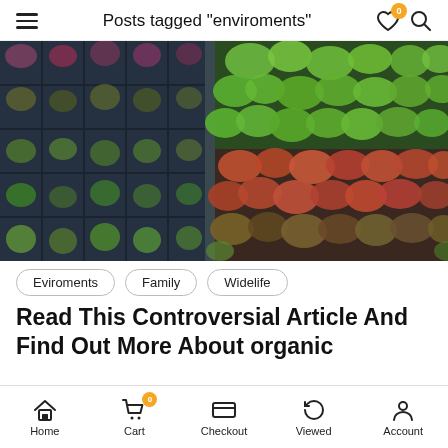Posts tagged "enviroments"
[Figure (photo): Aerial view of seedling trays with various young plants including green and red/purple leafy seedlings in black plastic cell trays]
Eviroments
Family
Widelife
Read This Controversial Article And Find Out More About organic
Home  Cart 0  Checkout  Viewed  Account